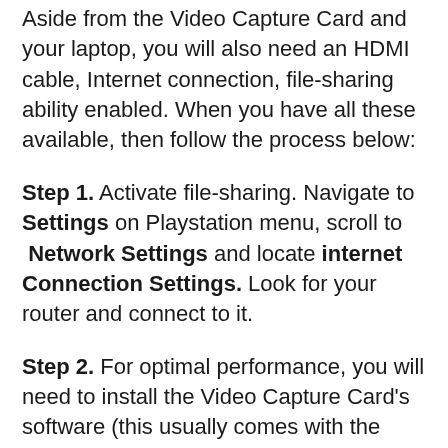Aside from the Video Capture Card and your laptop, you will also need an HDMI cable, Internet connection, file-sharing ability enabled. When you have all these available, then follow the process below:
Step 1. Activate file-sharing. Navigate to Settings on Playstation menu, scroll to Network Settings and locate internet Connection Settings. Look for your router and connect to it.
Step 2. For optimal performance, you will need to install the Video Capture Card's software (this usually comes with the Video Capture Card).
Step 3. Connect the Video Capture Card to the USB port on your laptop. The Video Capture Card connects your PS4 to a laptop. You will need an S-video connection cable to do